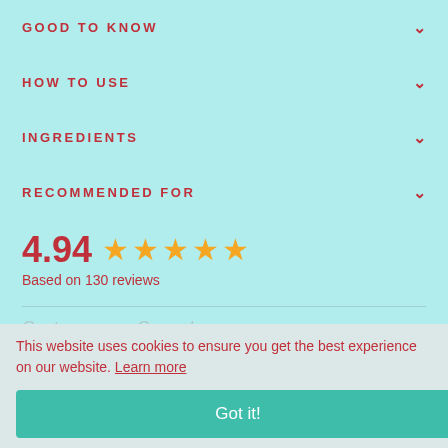GOOD TO KNOW
HOW TO USE
INGREDIENTS
RECOMMENDED FOR
4.94 ★★★★★
Based on 130 reviews
Sort ↓↑  🔍  Search
This website uses cookies to ensure you get the best experience on our website. Learn more
Got it!